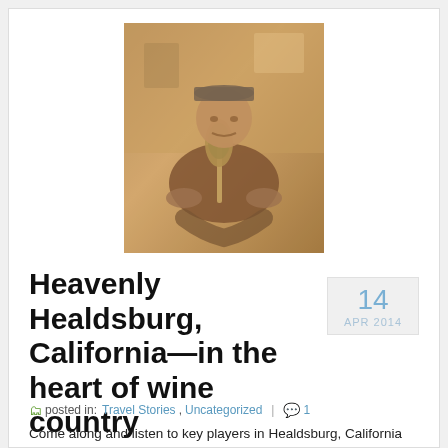[Figure (photo): Sepia-toned photo of a man in a cap and Hawaiian shirt sitting with a vintage microphone]
Heavenly Healdsburg, California—in the heart of wine country
14 APR 2014
posted in: Travel Stories, Uncategorized | 1
Come along and listen to key players in Healdsburg, California on the NPR.ORG podcast, Journeys of Discovery with Tom Wilmer Check out this episode!  First